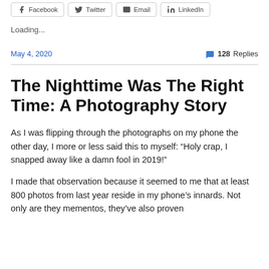[Figure (other): Social share buttons row: Facebook, Twitter, Email, LinkedIn]
Loading...
May 4, 2020    💬 128 Replies
The Nighttime Was The Right Time: A Photography Story
As I was flipping through the photographs on my phone the other day, I more or less said this to myself: “Holy crap, I snapped away like a damn fool in 2019!”
I made that observation because it seemed to me that at least 800 photos from last year reside in my phone’s innards. Not only are they mementos, they’ve also proven